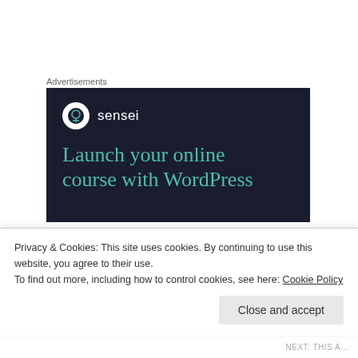Advertisements
[Figure (screenshot): Advertisement banner for Sensei with dark navy background showing the Sensei logo (tree in circle) and headline text 'Launch your online course with WordPress']
THISISONEFORTHEBOOKS  October 13, 2018 at 7:51 am  REPLY →
Literally this post warmed my heart so much. I love
Privacy & Cookies: This site uses cookies. By continuing to use this website, you agree to their use.
To find out more, including how to control cookies, see here: Cookie Policy
Close and accept